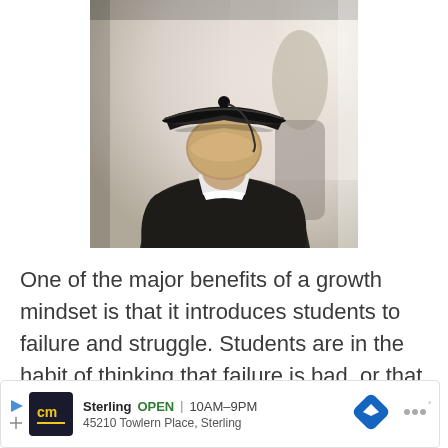[Figure (photo): Back view of a graduate wearing a black mortarboard cap and dark gown, with another person visible in the blurred background. Close-up photograph from behind.]
One of the major benefits of a growth mindset is that it introduces students to failure and struggle. Students are in the habit of thinking that failure is bad, or that struggle is evidence that
[Figure (other): Advertisement banner: cm logo, Sterling OPEN 10AM-9PM, 45210 Towlern Place, Sterling, with navigation arrow icon and Waze icon.]